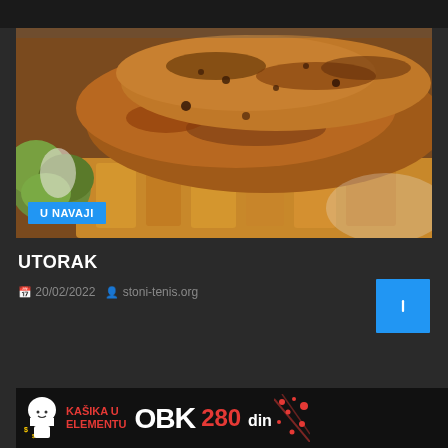[Figure (photo): Close-up photo of grilled/roasted chicken pieces with golden-brown crust, served with lettuce and potatoes/fries. Blue badge overlay reads 'U NAVAJI'.]
UTORAK
20/02/2022  stoni-tenis.org
[Figure (photo): Bottom banner advertisement showing chef icon, red text 'KAŠIKA U ELEMENTU', white text 'OBK', red price '280 din' with decorative dots/sparkles on black background.]